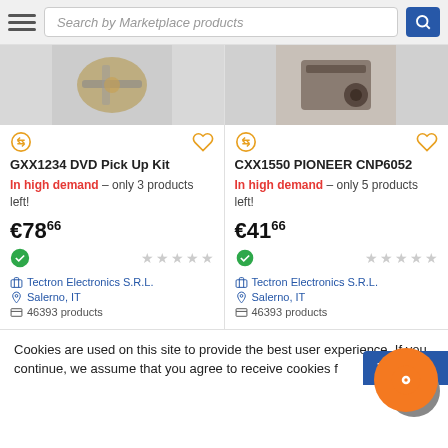Search by Marketplace products
[Figure (screenshot): Product card for GXX1234 DVD Pick Up Kit showing product image (multi-tool), exchange icon, heart icon, title, high demand notice, price €78.66, green check icon, star rating, seller Tectron Electronics S.R.L., location Salerno IT, 46393 products]
[Figure (screenshot): Product card for CXX1550 PIONEER CNP6052 showing product image (audio component), exchange icon, heart icon, title, high demand notice, price €41.66, green check icon, star rating, seller Tectron Electronics S.R.L., location Salerno IT, 46393 products]
Cookies are used on this site to provide the best user experience. If you continue, we assume that you agree to receive cookies from this site.